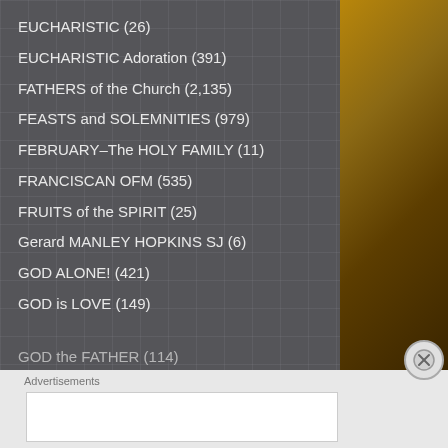EUCHARISTIC (26)
EUCHARISTIC Adoration (391)
FATHERS of the Church (2,135)
FEASTS and SOLEMNITIES (979)
FEBRUARY–The HOLY FAMILY (11)
FRANCISCAN OFM (535)
FRUITS of the SPIRIT (25)
Gerard MANLEY HOPKINS SJ (6)
GOD ALONE! (421)
GOD is LOVE (149)
GOD the FATHER (114)
Advertisements